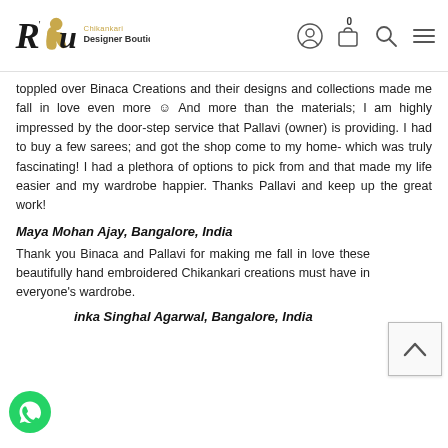R'zu Chikankari Designer Boutique — navigation header with cart (0), user, search, menu icons
toppled over Binaca Creations and their designs and collections made me fall in love even more ☺ And more than the materials; I am highly impressed by the door-step service that Pallavi (owner) is providing. I had to buy a few sarees; and got the shop come to my home- which was truly fascinating! I had a plethora of options to pick from and that made my life easier and my wardrobe happier. Thanks Pallavi and keep up the great work!
Maya Mohan Ajay, Bangalore, India
Thank you Binaca and Pallavi for making me fall in love these beautifully hand embroidered Chikankari creations must have in everyone's wardrobe.
inka Singhal Agarwal, Bangalore, India